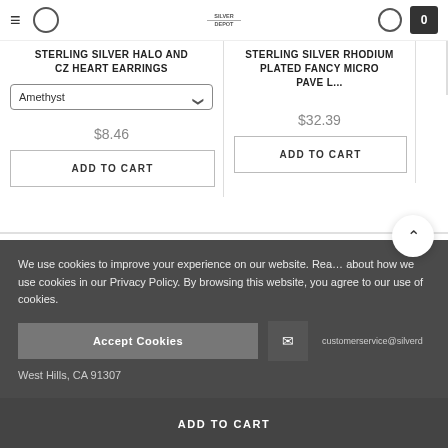Navigation bar with hamburger menu, search, Silver Depot logo, account icon, and cart (0)
STERLING SILVER HALO AND CZ HEART EARRINGS
STERLING SILVER RHODIUM PLATED FANCY MICRO PAVE L...
Amethyst (dropdown)
$8.46
ADD TO CART
$32.39
ADD TO CART
We use cookies to improve your experience on our website. Read about how we use cookies in our Privacy Policy. By browsing this website, you agree to our use of cookies.
Accept Cookies
customerservice@silverd
West Hills, CA 91307
ADD TO CART